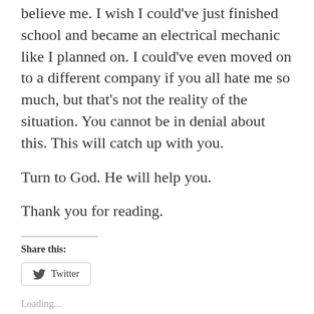believe me. I wish I could've just finished school and became an electrical mechanic like I planned on. I could've even moved on to a different company if you all hate me so much, but that's not the reality of the situation. You cannot be in denial about this. This will catch up with you.
Turn to God. He will help you.
Thank you for reading.
Share this:
Twitter
Loading...